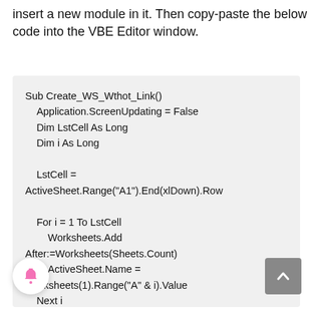insert a new module in it. Then copy-paste the below code into the VBE Editor window.
Sub Create_WS_Wthot_Link()
    Application.ScreenUpdating = False
    Dim LstCell As Long
    Dim i As Long

    LstCell =
ActiveSheet.Range("A1").End(xlDown).Row

    For i = 1 To LstCell
        Worksheets.Add After:=Worksheets(Sheets.Count)
        ActiveSheet.Name =
Worksheets(1).Range("A" & i).Value
    Next i

    Application.ScreenUpdating = True
End Sub